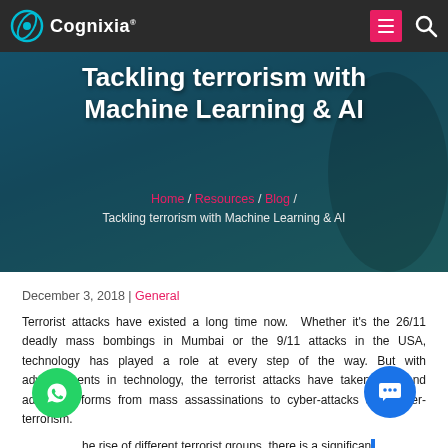Cognixia
Tackling terrorism with Machine Learning & AI
Home / Resources / Blog / Tackling terrorism with Machine Learning & AI
December 3, 2018 | General
Terrorist attacks have existed a long time now. Whether it's the 26/11 deadly mass bombings in Mumbai or the 9/11 attacks in the USA, technology has played a role at every step of the way. But with advancements in technology, the terrorist attacks have taken new and advanced forms from mass assassinations to cyber-attacks and cyber-terrorism.
With the rise of different terrorist groups, there is a significant increase in the need to fight against terrorism. This can be achieved by developing new and more effective solutions that can prevent attacks, identify suspects, and speed up the investigation to